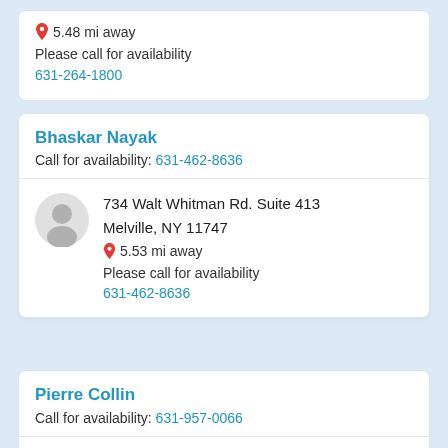5.48 mi away
Please call for availability
631-264-1800
Bhaskar Nayak
Call for availability: 631-462-8636
734 Walt Whitman Rd. Suite 413
Melville,  NY 11747
5.53 mi away
Please call for availability
631-462-8636
Pierre Collin
Call for availability: 631-957-0066